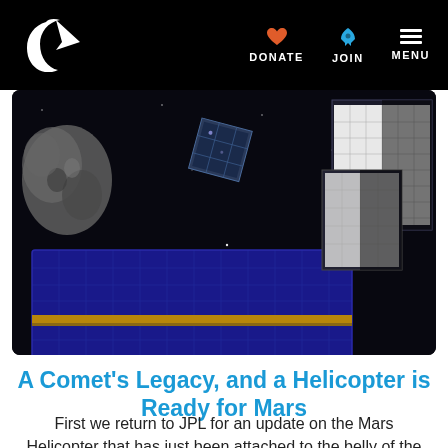Planetary Society — DONATE | JOIN | MENU
[Figure (illustration): Space scene showing satellites and spacecraft against a black starfield background, with a large blue solar panel array in the foreground and grey cube-shaped object and rocky asteroid in the background.]
A Comet’s Legacy, and a Helicopter is Ready for Mars
First we return to JPL for an update on the Mars Helicopter that has just been attached to the belly of the 2020 Mars Rover. Then it’s